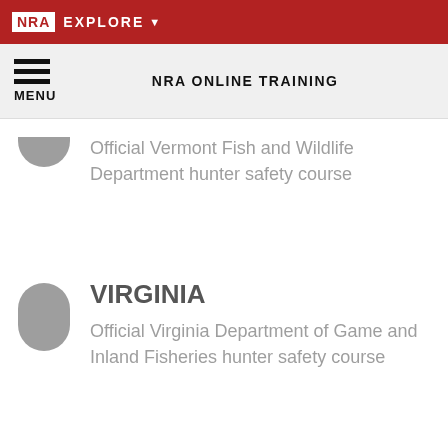NRA EXPLORE
NRA ONLINE TRAINING
Official Vermont Fish and Wildlife Department hunter safety course
VIRGINIA
Official Virginia Department of Game and Inland Fisheries hunter safety course